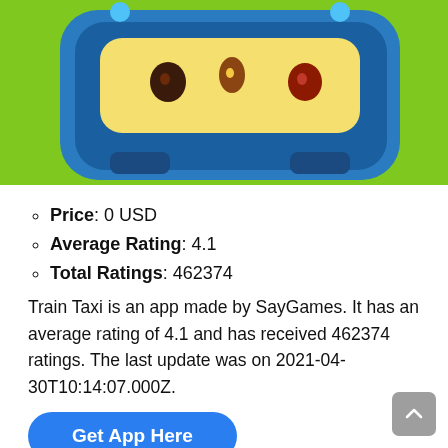[Figure (screenshot): Screenshot of a mobile game app called Train Taxi showing a cartoon train character on a green background]
Price: 0 USD
Average Rating: 4.1
Total Ratings: 462374
Train Taxi is an app made by SayGames. It has an average rating of 4.1 and has received 462374 ratings. The last update was on 2021-04-30T10:14:07.000Z.
Get App Here